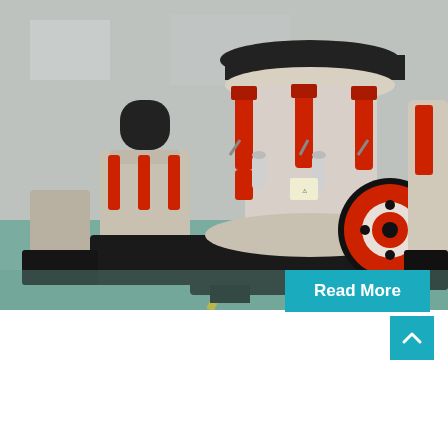[Figure (photo): Industrial stone crusher machines (cone crushers) lined up in a factory/warehouse. The machines are white and black with prominent red hydraulic cylinders. A large red and black flywheel is visible in the foreground. The floor is green/teal polished concrete.]
visiting card for stone crusher
Wood Crusher – Freshpatents.com: Patent Applications Updated ...